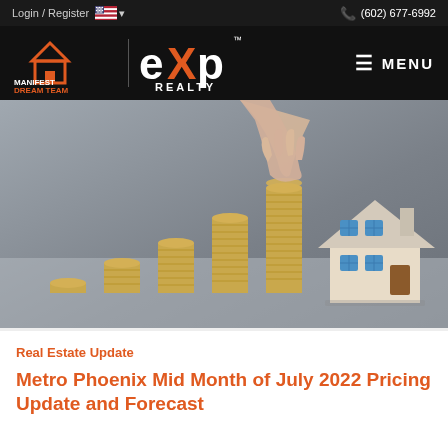Login / Register  🇺🇸 ▾  (602) 677-6992
[Figure (logo): Manifest Dream Team eXp Realty logo on dark background with MENU button]
[Figure (photo): Person stacking coins in ascending order next to a model house, representing real estate investment and home pricing]
Real Estate Update
Metro Phoenix Mid Month of July 2022 Pricing Update and Forecast